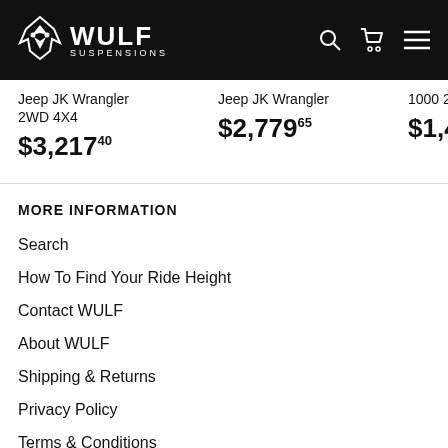WULF SUSPENSIONS
Jeep JK Wrangler 2WD 4X4 $3,217.40
Jeep JK Wrangler $2,779.65
1000 2 $1,44
MORE INFORMATION
Search
How To Find Your Ride Height
Contact WULF
About WULF
Shipping & Returns
Privacy Policy
Terms & Conditions